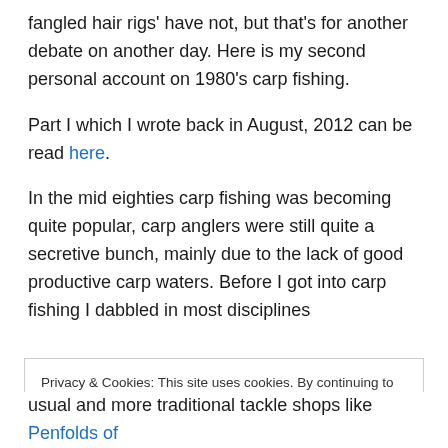fangled hair rigs' have not, but that's for another debate on another day. Here is my second personal account on 1980's carp fishing.
Part I which I wrote back in August, 2012 can be read here.
In the mid eighties carp fishing was becoming quite popular, carp anglers were still quite a secretive bunch, mainly due to the lack of good productive carp waters. Before I got into carp fishing I dabbled in most disciplines
Privacy & Cookies: This site uses cookies. By continuing to use this website, you agree to their use. To find out more, including how to control cookies, see here: Cookie Policy
usual and more traditional tackle shops like Penfolds of